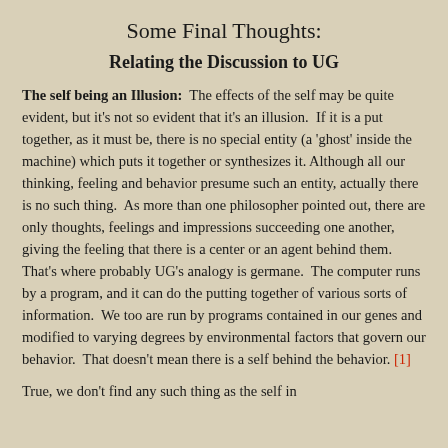Some Final Thoughts:
Relating the Discussion to UG
The self being an Illusion: The effects of the self may be quite evident, but it's not so evident that it's an illusion. If it is a put together, as it must be, there is no special entity (a 'ghost' inside the machine) which puts it together or synthesizes it. Although all our thinking, feeling and behavior presume such an entity, actually there is no such thing. As more than one philosopher pointed out, there are only thoughts, feelings and impressions succeeding one another, giving the feeling that there is a center or an agent behind them. That's where probably UG's analogy is germane. The computer runs by a program, and it can do the putting together of various sorts of information. We too are run by programs contained in our genes and modified to varying degrees by environmental factors that govern our behavior. That doesn't mean there is a self behind the behavior. [1]
True, we don't find any such thing as the self in